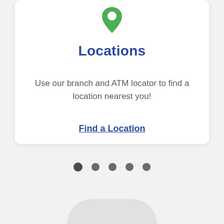[Figure (illustration): Green map pin / location marker icon pointing downward]
Locations
Use our branch and ATM locator to find a location nearest you!
Find a Location